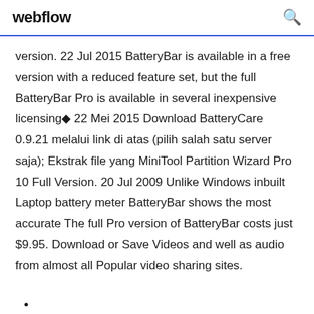webflow
version. 22 Jul 2015 BatteryBar is available in a free version with a reduced feature set, but the full BatteryBar Pro is available in several inexpensive licensing◆ 22 Mei 2015 Download BatteryCare 0.9.21 melalui link di atas (pilih salah satu server saja); Ekstrak file yang MiniTool Partition Wizard Pro 10 Full Version. 20 Jul 2009 Unlike Windows inbuilt Laptop battery meter BatteryBar shows the most accurate The full Pro version of BatteryBar costs just $9.95. Download or Save Videos and well as audio from almost all Popular video sharing sites.
•
•